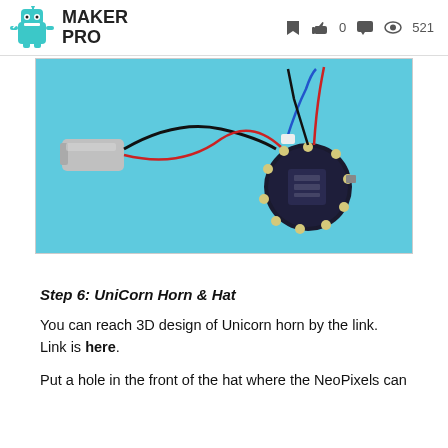MAKER PRO  0  521
[Figure (photo): Photo of a LiPo battery and a circular NeoPixel/microcontroller board connected with black and red wires on a blue background.]
Step 6: UniCorn Horn & Hat
You can reach 3D design of Unicorn horn by the link. Link is here.
Put a hole in the front of the hat where the NeoPixels can